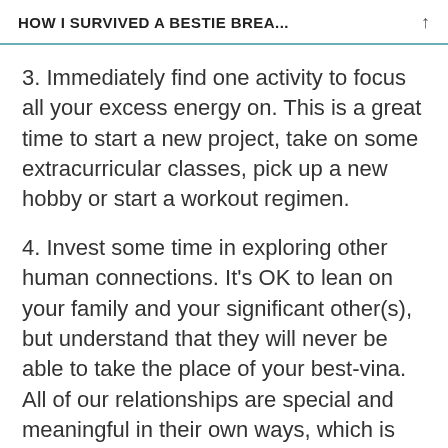HOW I SURVIVED A BESTIE BREA...
3. Immediately find one activity to focus all your excess energy on. This is a great time to start a new project, take on some extracurricular classes, pick up a new hobby or start a workout regimen.
4. Invest some time in exploring other human connections. It's OK to lean on your family and your significant other(s), but understand that they will never be able to take the place of your best-vina. All of our relationships are special and meaningful in their own ways, which is why human